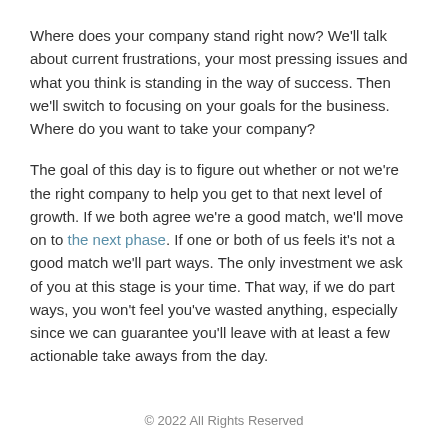Where does your company stand right now? We'll talk about current frustrations, your most pressing issues and what you think is standing in the way of success. Then we'll switch to focusing on your goals for the business. Where do you want to take your company?
The goal of this day is to figure out whether or not we're the right company to help you get to that next level of growth. If we both agree we're a good match, we'll move on to the next phase. If one or both of us feels it's not a good match we'll part ways. The only investment we ask of you at this stage is your time. That way, if we do part ways, you won't feel you've wasted anything, especially since we can guarantee you'll leave with at least a few actionable take aways from the day.
© 2022 All Rights Reserved